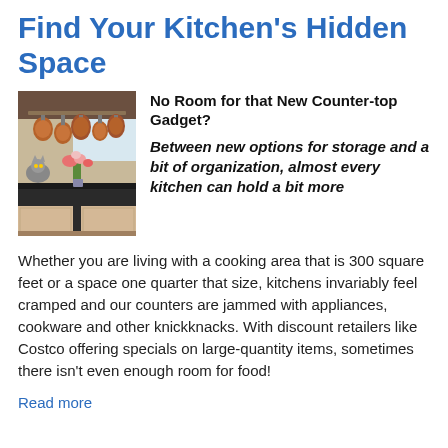Find Your Kitchen's Hidden Space
[Figure (photo): Kitchen interior with copper pots hanging from a rack, flowers on the counter, dark countertops, and a cat visible in the background.]
No Room for that New Counter-top Gadget?
Between new options for storage and a bit of organization, almost every kitchen can hold a bit more
Whether you are living with a cooking area that is 300 square feet or a space one quarter that size, kitchens invariably feel cramped and our counters are jammed with appliances, cookware and other knickknacks. With discount retailers like Costco offering specials on large-quantity items, sometimes there isn't even enough room for food!
Read more